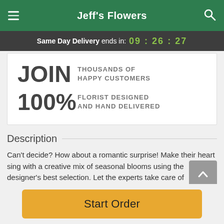Jeff's Flowers
Same Day Delivery ends in: 09:26:27
JOIN THOUSANDS OF HAPPY CUSTOMERS
100% FLORIST DESIGNED AND HAND DELIVERED
Description
Can't decide? How about a romantic surprise! Make their heart sing with a creative mix of seasonal blooms using the designer's best selection. Let the experts take care of
Start Order